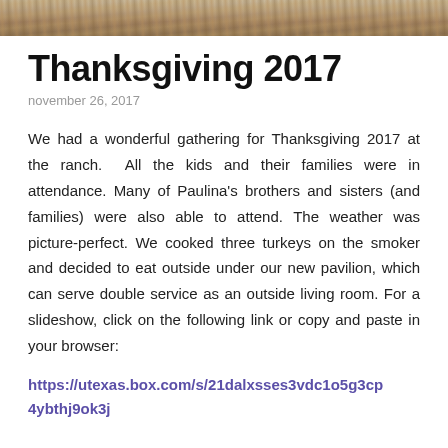[Figure (photo): Photo strip at top of page showing outdoor rocky/gravelly ground scene]
Thanksgiving 2017
november 26, 2017
We had a wonderful gathering for Thanksgiving 2017 at the ranch.  All the kids and their families were in attendance. Many of Paulina's brothers and sisters (and families) were also able to attend. The weather was picture-perfect. We cooked three turkeys on the smoker and decided to eat outside under our new pavilion, which can serve double service as an outside living room. For a slideshow, click on the following link or copy and paste in your browser:
https://utexas.box.com/s/21dalxsses3vdc1o5g3cp4ybthj9ok3j